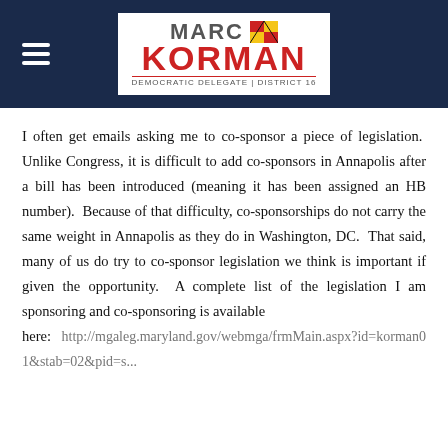[Figure (logo): Marc Korman Democratic Delegate District 16 logo with Maryland flag icon, displayed in a dark navy header bar with a hamburger menu icon on the left]
I often get emails asking me to co-sponsor a piece of legislation. Unlike Congress, it is difficult to add co-sponsors in Annapolis after a bill has been introduced (meaning it has been assigned an HB number). Because of that difficulty, co-sponsorships do not carry the same weight in Annapolis as they do in Washington, DC. That said, many of us do try to co-sponsor legislation we think is important if given the opportunity. A complete list of the legislation I am sponsoring and co-sponsoring is available
here: http://mgaleg.maryland.gov/webmga/frmMain.aspx?id=korman01&stab=02&pid=s...